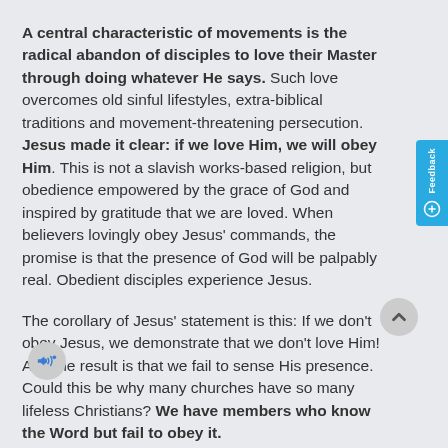A central characteristic of movements is the radical abandon of disciples to love their Master through doing whatever He says. Such love overcomes old sinful lifestyles, extra-biblical traditions and movement-threatening persecution. Jesus made it clear: if we love Him, we will obey Him. This is not a slavish works-based religion, but obedience empowered by the grace of God and inspired by gratitude that we are loved. When believers lovingly obey Jesus' commands, the promise is that the presence of God will be palpably real. Obedient disciples experience Jesus.
The corollary of Jesus' statement is this: If we don't obey Jesus, we demonstrate that we don't love Him! And the result is that we fail to sense His presence. Could this be why many churches have so many lifeless Christians? We have members who know the Word but fail to obey it.